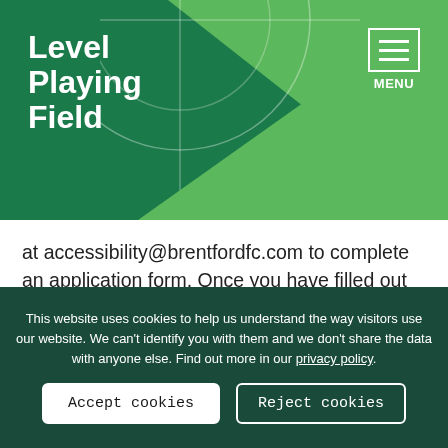Level Playing Field — MENU
at accessibility@brentfordfc.com to complete an application form. Once you have filled out the application form, a member of the Accessibility team will be in contact to follow up with your request and provide available dates.
This website uses cookies to help us understand the way visitors use our website. We can't identify you with them and we don't share the data with anyone else. Find out more in our privacy policy.
Accept cookies
Reject cookies